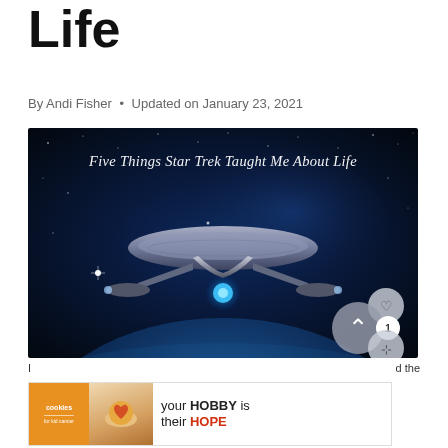Life
By Andi Fisher • Updated on January 23, 2021
[Figure (photo): Hero image showing a Star Trek starship Enterprise in space with stars and a planet backdrop, with the text 'Five Things Star Trek Taught Me About Life' in decorative script. UI buttons for heart/like, upvote (count: 1), and share are overlaid on the bottom-right corner.]
[Figure (screenshot): Advertisement banner for 'cookies for kid cancer' charity, showing hands holding a heart-shaped cookie, with text 'your HOBBY is their HOPE' and a close button.]
I
d the